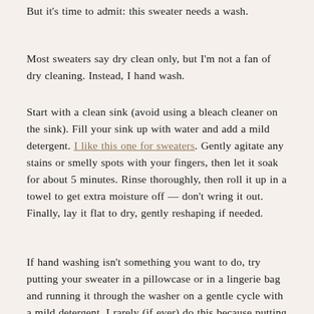But it's time to admit: this sweater needs a wash.
Most sweaters say dry clean only, but I'm not a fan of dry cleaning. Instead, I hand wash.
Start with a clean sink (avoid using a bleach cleaner on the sink). Fill your sink up with water and add a mild detergent. I like this one for sweaters. Gently agitate any stains or smelly spots with your fingers, then let it soak for about 5 minutes. Rinse thoroughly, then roll it up in a towel to get extra moisture off — don't wring it out. Finally, lay it flat to dry, gently reshaping if needed.
If hand washing isn't something you want to do, try putting your sweater in a pillowcase or in a lingerie bag and running it through the washer on a gentle cycle with a mild detergent. I rarely (if ever) do this because putting a dry clean only sweater in the washing machine is a risk. It depends on what it's made of…